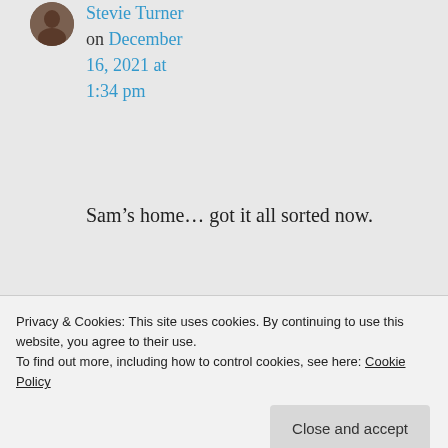[Figure (photo): Small circular avatar photo of a person]
Stevie Turner on December 16, 2021 at 1:34 pm
Sam's home… got it all sorted now.
★ Liked by 1 person
Log in to Reply
Privacy & Cookies: This site uses cookies. By continuing to use this website, you agree to their use.
To find out more, including how to control cookies, see here: Cookie Policy
Close and accept
Decem